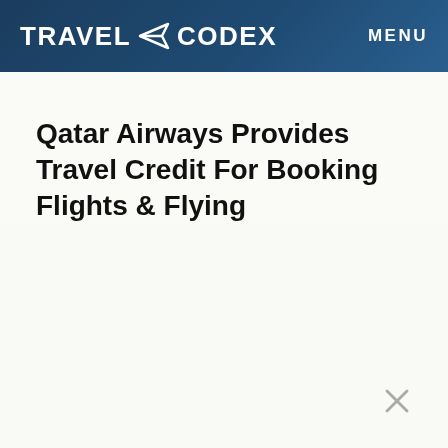TRAVEL CODEX  MENU
Qatar Airways Provides Travel Credit For Booking Flights & Flying